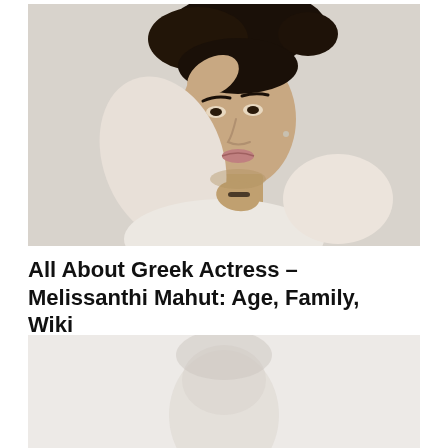[Figure (photo): Portrait photo of a young woman with dark hair pinned up, wearing a white/cream blouse, hand raised to her head, against a light grey background.]
All About Greek Actress – Melissanthi Mahut: Age, Family, Wiki
[Figure (photo): Partially visible second photo of Melissanthi Mahut, cropped at bottom of page, light/faded appearance.]